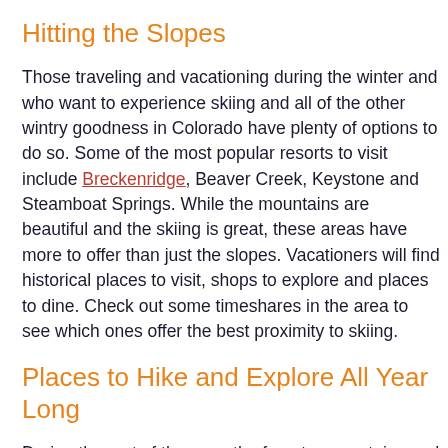Hitting the Slopes
Those traveling and vacationing during the winter and who want to experience skiing and all of the other wintry goodness in Colorado have plenty of options to do so. Some of the most popular resorts to visit include Breckenridge, Beaver Creek, Keystone and Steamboat Springs. While the mountains are beautiful and the skiing is great, these areas have more to offer than just the slopes. Vacationers will find historical places to visit, shops to explore and places to dine. Check out some timeshares in the area to see which ones offer the best proximity to skiing.
Places to Hike and Explore All Year Long
During the rest of the year, the forests, mountains and lakes make great places to go hiking, boating and fishing. Perhaps you do not want to visit Colorado in the winter. Maybe the cold just doesn't hold the same appeal to you. That's okay; you have plenty of other places to visit and enjoy all around the state. Visit Pikes Peak, Mesa Verde National Park